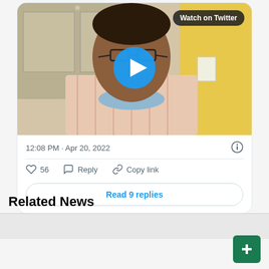[Figure (screenshot): Twitter/X embedded tweet card showing a video thumbnail of a man wearing a mask around his neck, with a play button overlay and 'Watch on Twitter' badge]
12:08 PM · Apr 20, 2022
56  Reply  Copy link
Read 9 replies
Related News